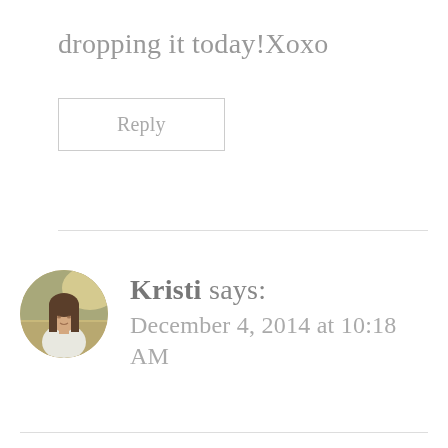dropping it today!Xoxo
Reply
Kristi says: December 4, 2014 at 10:18 AM
[Figure (photo): Round avatar photo of a woman with long hair wearing a white top, outdoors with a golden/green blurred background]